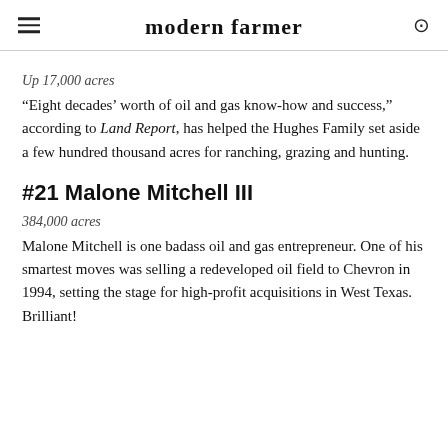modern farmer
Up 17,000 acres
“Eight decades’ worth of oil and gas know-how and success,” according to Land Report, has helped the Hughes Family set aside a few hundred thousand acres for ranching, grazing and hunting.
#21 Malone Mitchell III
384,000 acres
Malone Mitchell is one badass oil and gas entrepreneur. One of his smartest moves was selling a redeveloped oil field to Chevron in 1994, setting the stage for high-profit acquisitions in West Texas. Brilliant!